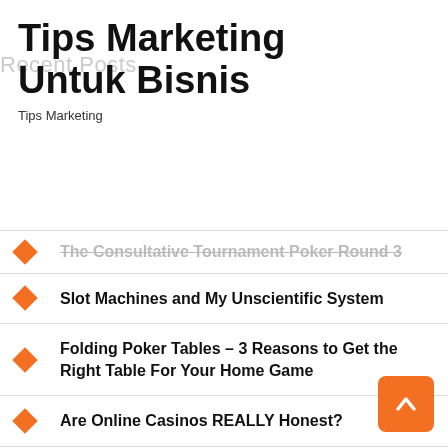Tips Marketing Untuk Bisnis
Tips Marketing
Recent Posts
The Consultative Tournament Poker Round 3
Slot Machines and My Unscientific System
Folding Poker Tables – 3 Reasons to Get the Right Table For Your Home Game
Are Online Casinos REALLY Honest?
Lottery 47